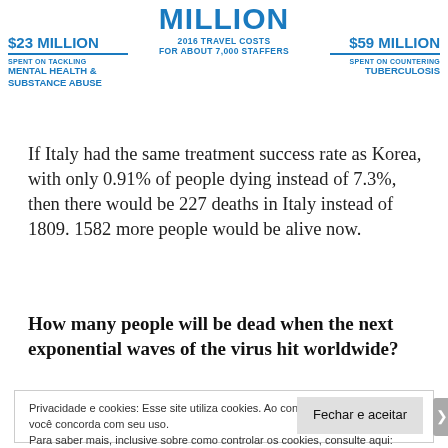[Figure (infographic): Partial infographic showing travel costs and health spending: MILLION / 2016 TRAVEL COSTS FOR ABOUT 7,000 STAFFERS in center; $23 MILLION SPENT ON TACKLING MENTAL HEALTH & SUBSTANCE ABUSE on left; $59 MILLION SPENT ON COUNTERING TUBERCULOSIS on right]
If Italy had the same treatment success rate as Korea, with only 0.91% of people dying instead of 7.3%, then there would be 227 deaths in Italy instead of 1809. 1582 more people would be alive now.
How many people will be dead when the next exponential waves of the virus hit worldwide?
Privacidade e cookies: Esse site utiliza cookies. Ao continuar a usar este site, você concorda com seu uso.
Para saber mais, inclusive sobre como controlar os cookies, consulte aqui:
Política de cookies

Fechar e aceitar